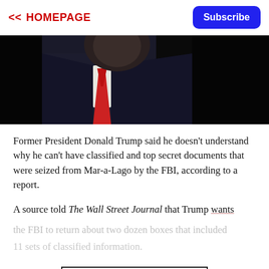<< HOMEPAGE | Subscribe
[Figure (photo): Cropped photo of a person in a dark suit with a red tie against a black background, partially visible from chest up.]
Former President Donald Trump said he doesn't understand why he can't have classified and top secret documents that were seized from Mar-a-Lago by the FBI, according to a report.
A source told The Wall Street Journal that Trump wants the FBI to return about two dozen boxes that included 11 sets of classified information.
CONTINUE READING